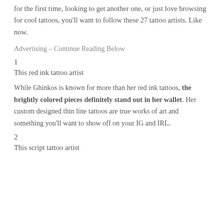for the first time, looking to get another one, or just love browsing for cool tattoos, you'll want to follow these 27 tattoo artists. Like now.
Advertising – Continue Reading Below
1
This red ink tattoo artist
While Ghinkos is known for more than her red ink tattoos, the brightly colored pieces definitely stand out in her wallet. Her custom designed thin line tattoos are true works of art and something you'll want to show off on your IG and IRL.
2
This script tattoo artist